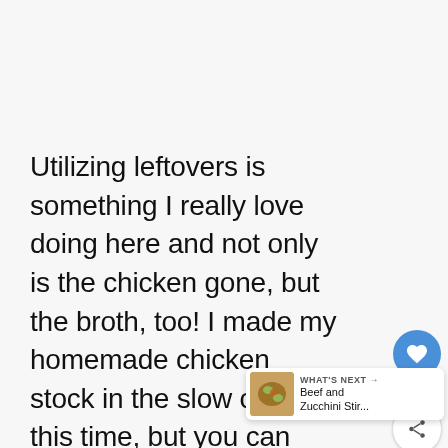Utilizing leftovers is something I really love doing here and not only is the chicken gone, but the broth, too! I made my homemade chicken stock in the slow cooker this time, but you can make it on the stove top like I have in the past: so Personally, for my broths I just throw random veggies and
[Figure (other): Floating UI panel with heart/favorite button (blue circle with heart icon, count '200') and share button (white circle with share icon)]
[Figure (other): What's Next card showing a thumbnail of food (Beef and Zucchini Stir...) with label 'WHAT'S NEXT →']